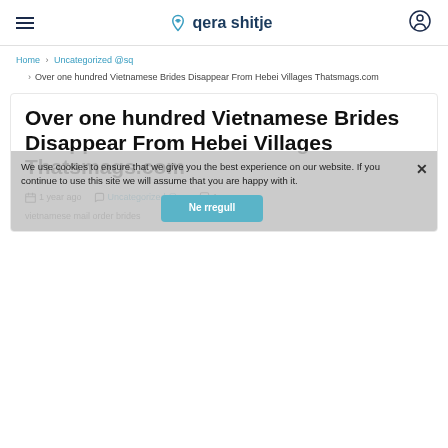≡  qera shitje  [user icon]
Home > Uncategorized @sq > Over one hundred Vietnamese Brides Disappear From Hebei Villages Thatsmags.com
Over one hundred Vietnamese Brides Disappear From Hebei Villages Thatsmags.com
1 year ago  Uncategorized @sq  1
We use cookies to ensure that we give you the best experience on our website. If you continue to use this site we will assume that you are happy with it.
Ne rregull
vietnamese mail order brides